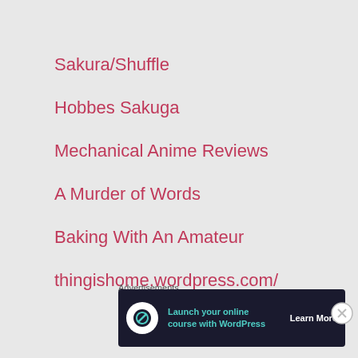Sakura/Shuffle
Hobbes Sakuga
Mechanical Anime Reviews
A Murder of Words
Baking With An Amateur
thingishome.wordpress.com/
Advertisements
[Figure (other): Advertisement banner: Launch your online course with WordPress - Learn More button, dark background with teal text and WordPress logo icon]